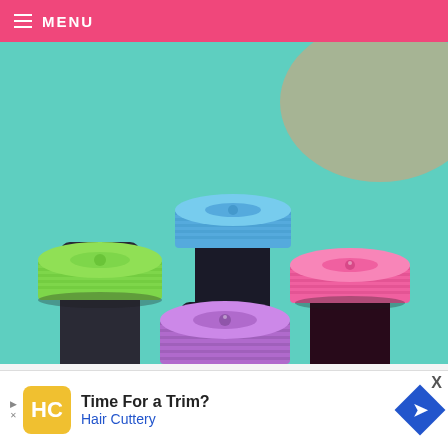≡ MENU
[Figure (photo): Close-up photo of four small bottles with colorful plastic caps (green, blue, pink, purple) on a teal/mint green surface, likely food coloring bottles.]
You'll only need to add a drop or two of food
[Figure (infographic): Advertisement banner for Hair Cuttery with text 'Time For a Trim?' and 'Hair Cuttery', featuring the HC logo in yellow/gold and a blue direction arrow icon.]